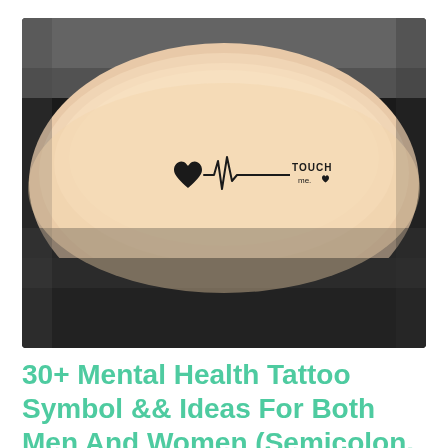[Figure (photo): A close-up photograph of a wrist/forearm with a small tattoo showing a heartbeat/EKG line with a heart symbol on the left and the text 'TOUCH me.' with a small heart on the right. The background shows the wrist against a dark surface.]
30+ Mental Health Tattoo Symbol && Ideas For Both Men And Women (Semicolon, Phoenix, Butterfly, Lotus, Koi Fish )